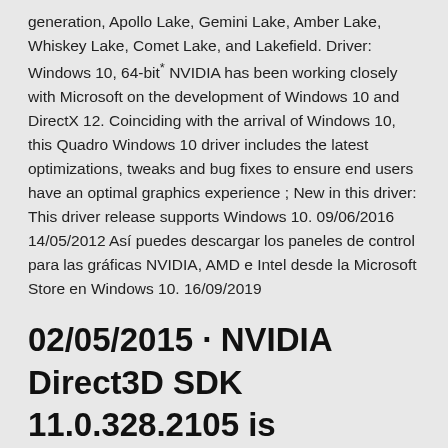generation, Apollo Lake, Gemini Lake, Amber Lake, Whiskey Lake, Comet Lake, and Lakefield. Driver: Windows 10, 64-bit* NVIDIA has been working closely with Microsoft on the development of Windows 10 and DirectX 12. Coinciding with the arrival of Windows 10, this Quadro Windows 10 driver includes the latest optimizations, tweaks and bug fixes to ensure end users have an optimal graphics experience ; New in this driver: This driver release supports Windows 10. 09/06/2016 14/05/2012 Así puedes descargar los paneles de control para las gráficas NVIDIA, AMD e Intel desde la Microsoft Store en Windows 10. 16/09/2019
02/05/2015 · NVIDIA Direct3D SDK 11.0.328.2105 is available to all software users as a free download for